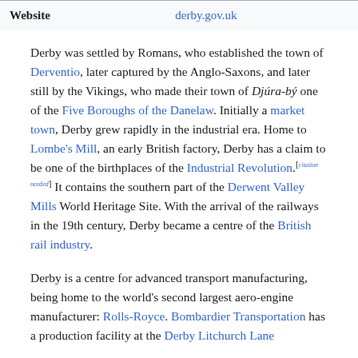| Website | derby.gov.uk |
| --- | --- |
Derby was settled by Romans, who established the town of Derventio, later captured by the Anglo-Saxons, and later still by the Vikings, who made their town of Djúra-bý one of the Five Boroughs of the Danelaw. Initially a market town, Derby grew rapidly in the industrial era. Home to Lombe's Mill, an early British factory, Derby has a claim to be one of the birthplaces of the Industrial Revolution.[citation needed] It contains the southern part of the Derwent Valley Mills World Heritage Site. With the arrival of the railways in the 19th century, Derby became a centre of the British rail industry.
Derby is a centre for advanced transport manufacturing, being home to the world's second largest aero-engine manufacturer: Rolls-Royce. Bombardier Transportation has a production facility at the Derby Litchurch Lane...